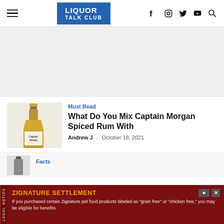LIQUOR TALK CLUB
[Figure (other): Gray advertisement placeholder area]
[Figure (photo): Captain Morgan Spiced Rum bottle standing upright against a light background]
Must Read
What Do You Mix Captain Morgan Spiced Rum With
Andrew J - October 18, 2021
[Figure (photo): Small bottle image thumbnail]
Facts
ZIGNATURE SETTLEMENT
If you purchased certain Zignature pet food products labeled as "grain free" or "chicken free," you may be eligible for benefits